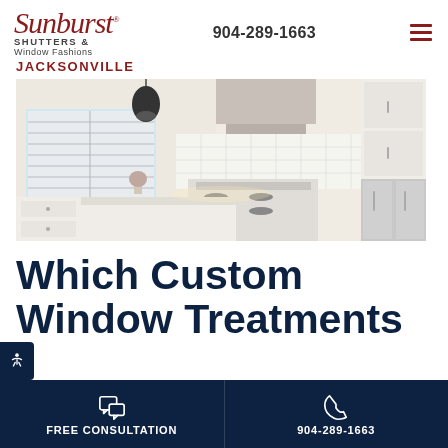Sunburst Shutters & Window Fashions - JACKSONVILLE | 904-289-1663
[Figure (photo): Bright modern white kitchen with plantation shutters on windows, pendant lights, stainless steel appliances including refrigerator and range hood, white cabinets and countertops]
Which Custom Window Treatments
FREE CONSULTATION | 904-289-1663